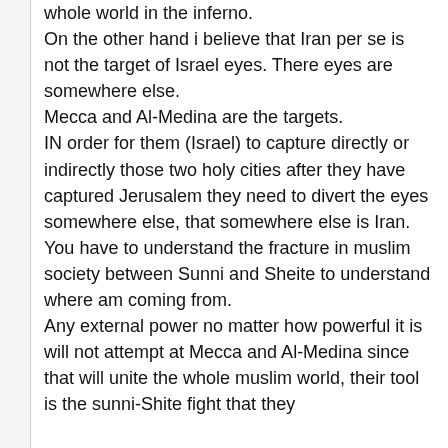whole world in the inferno.
On the other hand i believe that Iran per se is not the target of Israel eyes. There eyes are somewhere else.
Mecca and Al-Medina are the targets.
IN order for them (Israel) to capture directly or indirectly those two holy cities after they have captured Jerusalem they need to divert the eyes somewhere else, that somewhere else is Iran.
You have to understand the fracture in muslim society between Sunni and Sheite to understand where am coming from.
Any external power no matter how powerful it is will not attempt at Mecca and Al-Medina since that will unite the whole muslim world, their tool is the sunni-Shite fight that they